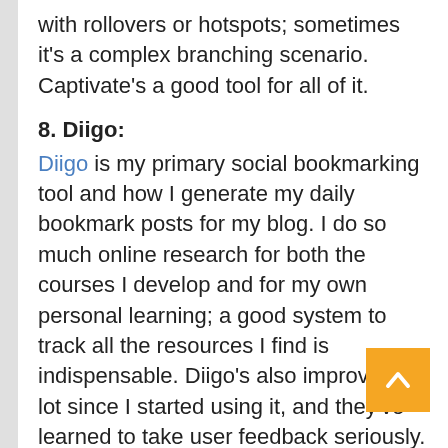with rollovers or hotspots; sometimes it's a complex branching scenario. Captivate's a good tool for all of it.
8. Diigo:
Diigo is my primary social bookmarking tool and how I generate my daily bookmark posts for my blog. I do so much online research for both the courses I develop and for my own personal learning; a good system to track all the resources I find is indispensable. Diigo's also improved a lot since I started using it, and they've learned to take user feedback seriously.
9. Skype:
Working from home, Skype is one of my